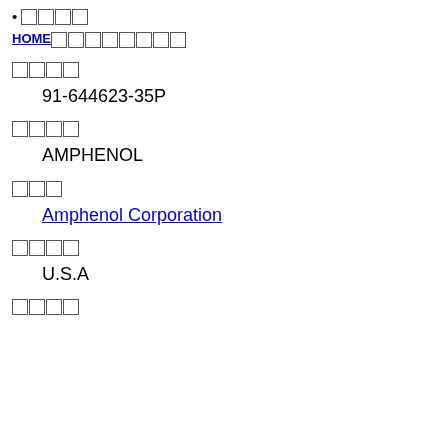[CJK chars]
HOME[CJK] [CJK]
[CJK chars]
91-644623-35P
[CJK chars]
AMPHENOL
[CJK chars]
Amphenol Corporation
[CJK chars]
U.S.A
[CJK chars]